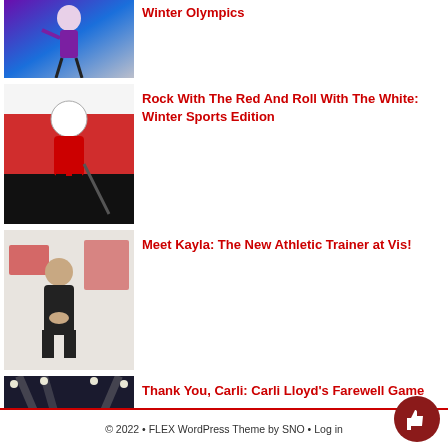[Figure (photo): Figure skater in purple outfit performing at Winter Olympics]
Winter Olympics
[Figure (photo): Hockey player in red and black uniform on ice]
Rock With The Red And Roll With The White: Winter Sports Edition
[Figure (photo): Athletic trainer Kayla standing in a gym/training room]
Meet Kayla: The New Athletic Trainer at Vis!
[Figure (photo): Night view of a soccer stadium with green field and crowd]
Thank You, Carli: Carli Lloyd's Farewell Game
© 2022 • FLEX WordPress Theme by SNO • Log in